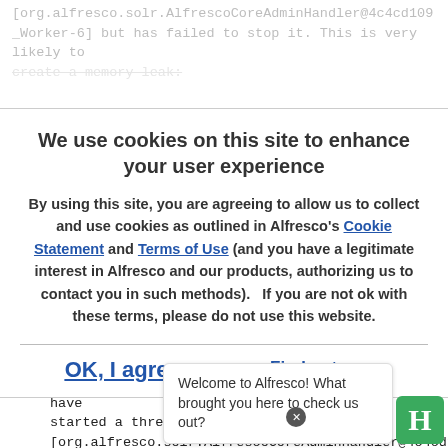[org.alfresco.solr.AlfrescoCoreAdminHandler@4c4cd109_Worker-6] but has failed to stop it. This is very likely to create a memory leak:
We use cookies on this site to enhance your user experience
By using this site, you are agreeing to allow us to collect and use cookies as outlined in Alfresco’s Cookie Statement and Terms of Use (and you have a legitimate interest in Alfresco and our products, authorizing us to contact you in such methods).   If you are not ok with these terms, please do not use this website.
OK, I agree
Find out more
GRAVE: The web application [/solr4] appears to have started a thread named [org.alfresco.solr.AlfrescoCoreAdminHandler@4c4cd109_Worker-8] u... likely to create a memo... janv. 09, 2018 org.apache.catalina.loader.WebappClassLoaderBase
Welcome to Alfresco! What brought you here to check us out?